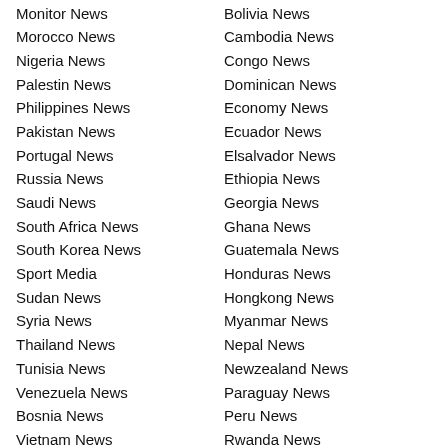Monitor News
Morocco News
Nigeria News
Palestin News
Philippines News
Pakistan News
Portugal News
Russia News
Saudi News
South Africa News
South Korea News
Sport Media
Sudan News
Syria News
Thailand News
Tunisia News
Venezuela News
Bosnia News
Vietnam News
Iran News
Yemen News
UAE News
Oman News
Bolivia News
Cambodia News
Congo News
Dominican News
Economy News
Ecuador News
Elsalvador News
Ethiopia News
Georgia News
Ghana News
Guatemala News
Honduras News
Hongkong News
Myanmar News
Nepal News
Newzealand News
Paraguay News
Peru News
Rwanda News
Senegal News
Singapore News
Tanzania News
Uruguay News